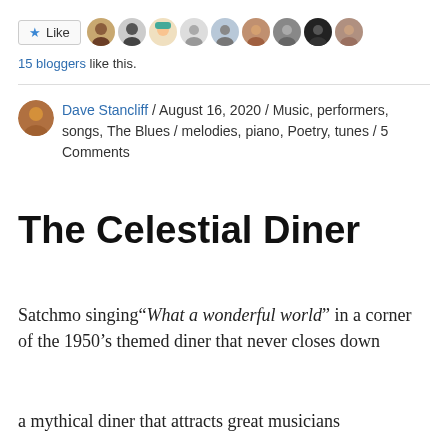[Figure (other): Like button and row of blogger avatar photos]
15 bloggers like this.
Dave Stancliff / August 16, 2020 / Music, performers, songs, The Blues / melodies, piano, Poetry, tunes / 5 Comments
The Celestial Diner
Satchmo singing "What a wonderful world" in a corner of the 1950's themed diner that never closes down
a mythical diner that attracts great musicians